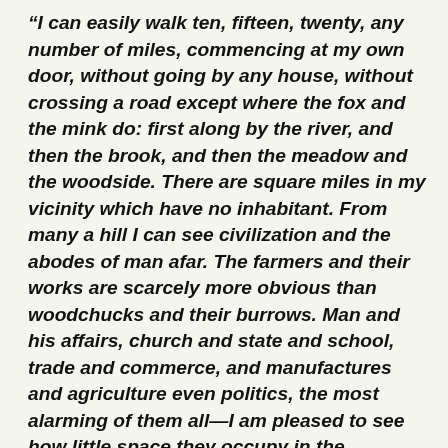“I can easily walk ten, fifteen, twenty, any number of miles, commencing at my own door, without going by any house, without crossing a road except where the fox and the mink do: first along by the river, and then the brook, and then the meadow and the woodside. There are square miles in my vicinity which have no inhabitant. From many a hill I can see civilization and the abodes of man afar. The farmers and their works are scarcely more obvious than woodchucks and their burrows. Man and his affairs, church and state and school, trade and commerce, and manufactures and agriculture even politics, the most alarming of them all—I am pleased to see how little space they occupy in the landscape. Politics is but a narrow field, and that still narrower highway wander leads to